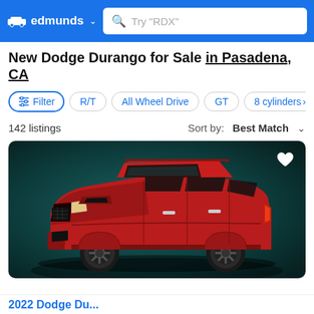edmunds
New Dodge Durango for Sale in Pasadena, CA
Filter
R/T
All Wheel Drive
GT
8 cylinders
142 listings
Sort by: Best Match
[Figure (photo): Red Dodge Durango SUV photographed in three-quarter front view against a dark teal background]
2022 Dodge Du...